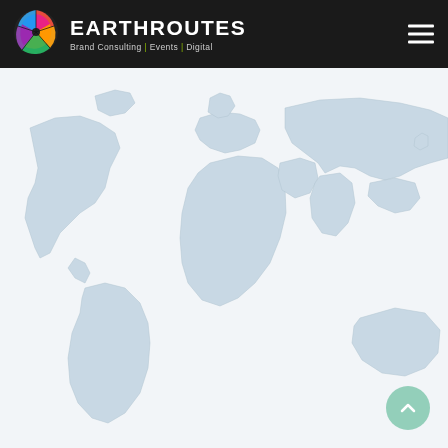[Figure (logo): EarthRoutes logo with colorful globe icon and company name]
EARTHROUTES Brand Consulting | Events | Digital
[Figure (map): World map with light blue/grey continents on white background]